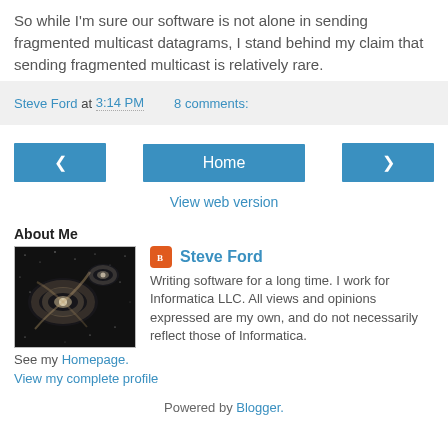So while I'm sure our software is not alone in sending fragmented multicast datagrams, I stand behind my claim that sending fragmented multicast is relatively rare.
Steve Ford at 3:14 PM   8 comments:
[Figure (other): Navigation bar with left arrow button, Home button, and right arrow button]
View web version
About Me
[Figure (photo): Galaxy photo showing spiral galaxies]
Steve Ford
Writing software for a long time. I work for Informatica LLC. All views and opinions expressed are my own, and do not necessarily reflect those of Informatica. See my Homepage.
View my complete profile
Powered by Blogger.